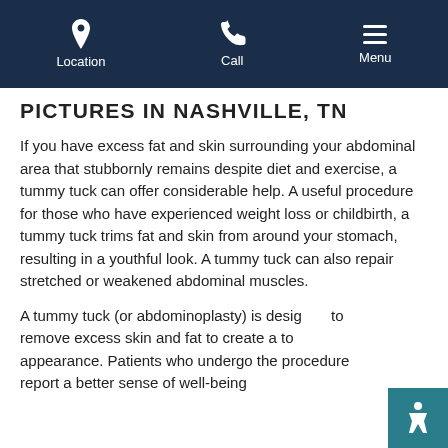Location | Call | Menu
PICTURES IN NASHVILLE, TN
If you have excess fat and skin surrounding your abdominal area that stubbornly remains despite diet and exercise, a tummy tuck can offer considerable help. A useful procedure for those who have experienced weight loss or childbirth, a tummy tuck trims fat and skin from around your stomach, resulting in a youthful look. A tummy tuck can also repair stretched or weakened abdominal muscles.
A tummy tuck (or abdominoplasty) is designed to remove excess skin and fat to create a toned appearance. Patients who undergo the procedure report a better sense of well-being